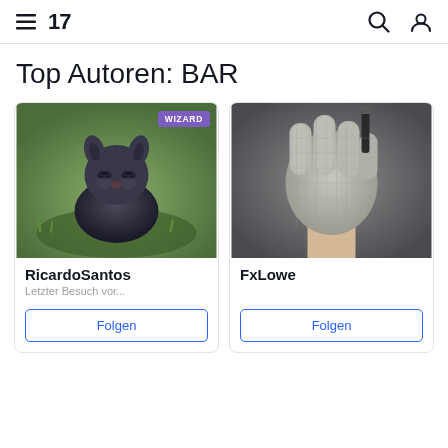TradingView — Top Autoren: BAR
Top Autoren: BAR
[Figure (photo): Profile image of RicardoSantos: a dark grey arctic fox sitting on grass, with a purple WIZARD badge in top-right corner]
RicardoSantos
Letzter Besuch vor...
Folgen
[Figure (photo): Profile image of FxLowe: a metal mesh glove holding a knife/tool against a grey background]
FxLowe
Folgen